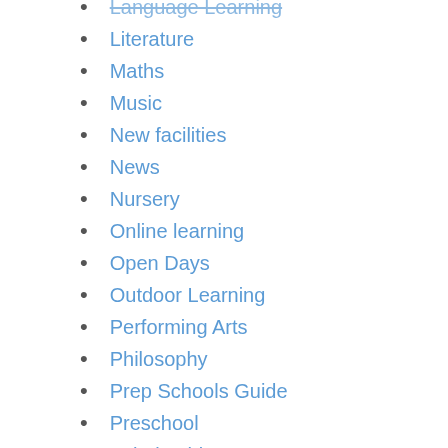Language Learning
Literature
Maths
Music
New facilities
News
Nursery
Online learning
Open Days
Outdoor Learning
Performing Arts
Philosophy
Prep Schools Guide
Preschool
Scholarships
School awards
School fees planning
School News